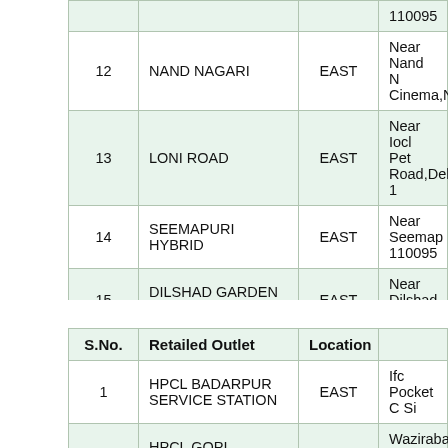| S.No. | Retailed Outlet | Location | Address |
| --- | --- | --- | --- |
|  |  |  | 110095 |
| 12 | NAND NAGARI | EAST | Near Nand N Cinema,Nand |
| 13 | LONI ROAD | EAST | Near Iocl Pet Road,Delhi-1 |
| 14 | SEEMAPURI HYBRID | EAST | Near Seemap 110095 |
| 15 | DILSHAD GARDEN HYBRID | EAST | Near Dilshad Garden,Delhi- |
| S.No. | Retailed Outlet | Location | Address |
| --- | --- | --- | --- |
| 1 | HPCL BADARPUR SERVICE STATION | EAST | Ifc Pocket C Si |
| 2 | HPCL GOPI SERVICE STATION | EAST | Wazirabad Ro Flyover,Wazira |
| 3 | HPCL AISHRAM | EAST | Near Sanjay J |